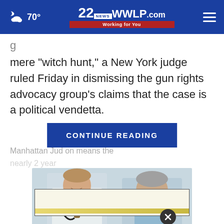70° | 22WWLP.com News Working for You
mere “witch hunt,” a New York judge ruled Friday in dismissing the gun rights advocacy group’s claims that the case is a political vendetta.
CONTINUE READING
Manhattan Jud...on means the nearly 2 year...
[Figure (photo): Doctor in white coat with stethoscope talking with an older patient]
[Figure (other): Advertisement box with yellow bar]